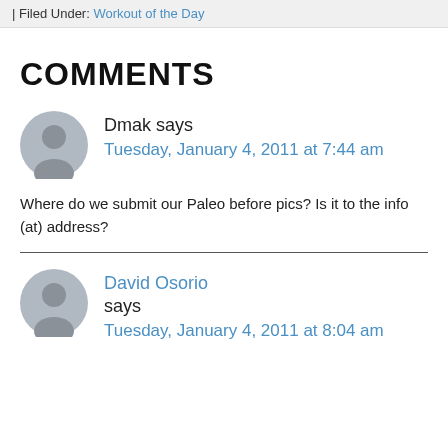| Filed Under: Workout of the Day
COMMENTS
Dmak says
Tuesday, January 4, 2011 at 7:44 am
Where do we submit our Paleo before pics? Is it to the info (at) address?
David Osorio says
Tuesday, January 4, 2011 at 8:04 am